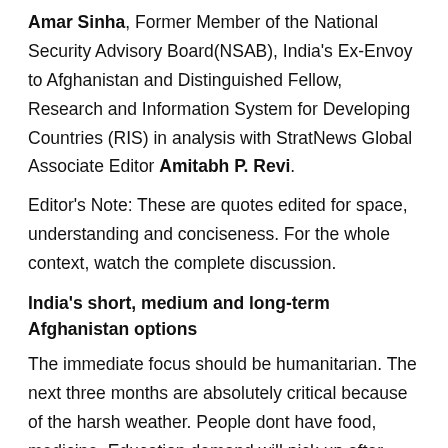Amar Sinha, Former Member of the National Security Advisory Board(NSAB), India's Ex-Envoy to Afghanistan and Distinguished Fellow, Research and Information System for Developing Countries (RIS) in analysis with StratNews Global Associate Editor Amitabh P. Revi.
Editor's Note: These are quotes edited for space, understanding and conciseness. For the whole context, watch the complete discussion.
India's short, medium and long-term Afghanistan options
The immediate focus should be humanitarian. The next three months are absolutely critical because of the harsh weather. People dont have food, medicine. Education demand will pick up after winter.
In the long-term, India has to have pro-people policies. But, we shouldn't accept the radical Taliban regime as a natural template for Afghanistan. We should try to moderate the Taliban's outlook